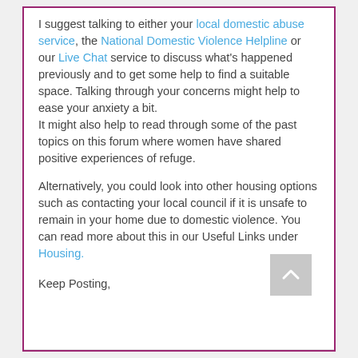I suggest talking to either your local domestic abuse service, the National Domestic Violence Helpline or our Live Chat service to discuss what's happened previously and to get some help to find a suitable space. Talking through your concerns might help to ease your anxiety a bit. It might also help to read through some of the past topics on this forum where women have shared positive experiences of refuge.
Alternatively, you could look into other housing options such as contacting your local council if it is unsafe to remain in your home due to domestic violence. You can read more about this in our Useful Links under Housing.
Keep Posting,

Lisa